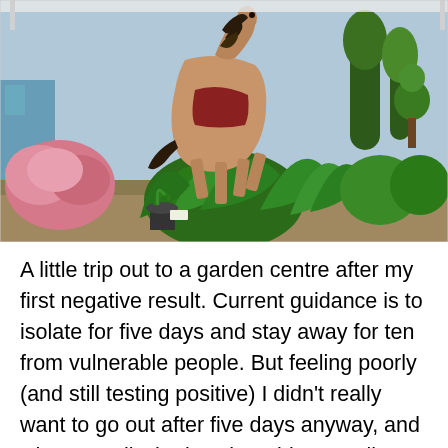[Figure (photo): A wooden carved rocking horse statue displayed in a garden centre surrounded by lush green plants including large-leafed tropical plants, pink hydrangeas, and various potted plants under a white shelter canopy. Trees and topiary visible in background.]
A little trip out to a garden centre after my first negative result. Current guidance is to isolate for five days and stay away for ten from vulnerable people. But feeling poorly (and still testing positive) I didn't really want to go out after five days anyway, and who can tell who is vulnerable? I really didn't want to pass on the virus to anyone at all, it's nasty even after vaccinations, especially those who might